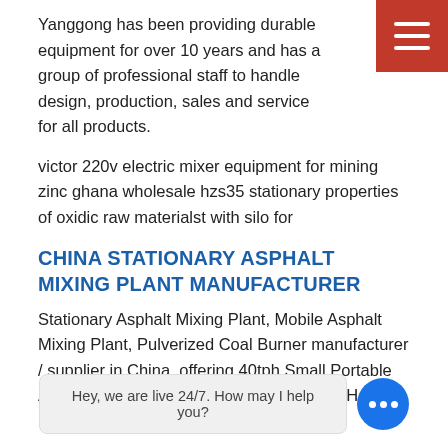Yanggong has been providing durable equipment for over 10 years and has a group of professional staff to handle design, production, sales and service for all products.
victor 220v electric mixer equipment for mining zinc ghana wholesale hzs35 stationary properties of oxidic raw materialst with silo for
CHINA STATIONARY ASPHALT MIXING PLANT MANUFACTURER
Stationary Asphalt Mixing Plant, Mobile Asphalt Mixing Plant, Pulverized Coal Burner manufacturer / supplier in China, offering 40tph Small Portable Asphalt Batch Mixing Plant for Sale, 320t/ H Environmental Protection Large
20 30 40TPH MOBILE ASPHALT MIXING PLANT
10 80tph mobile asphalt mixing plant. 40tph mobile asphalt mixing plant for road... batching mixing plant qlb. on made in china (we can supply